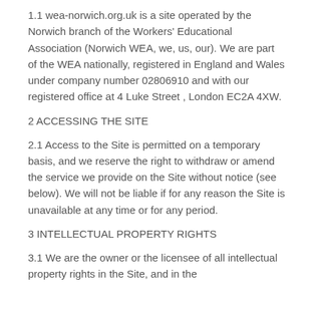1.1 wea-norwich.org.uk is a site operated by the Norwich branch of the Workers' Educational Association (Norwich WEA, we, us, our). We are part of the WEA nationally, registered in England and Wales under company number 02806910 and with our registered office at 4 Luke Street , London EC2A 4XW.
2 ACCESSING THE SITE
2.1 Access to the Site is permitted on a temporary basis, and we reserve the right to withdraw or amend the service we provide on the Site without notice (see below). We will not be liable if for any reason the Site is unavailable at any time or for any period.
3 INTELLECTUAL PROPERTY RIGHTS
3.1 We are the owner or the licensee of all intellectual property rights in the Site, and in the